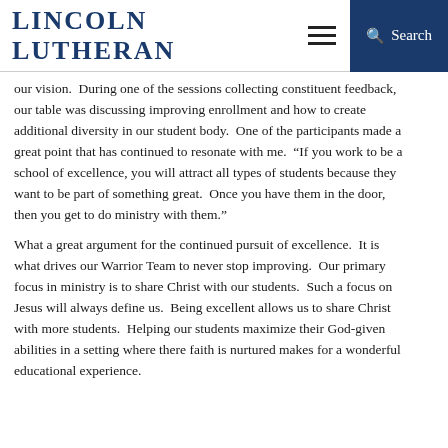Lincoln Lutheran
our vision.  During one of the sessions collecting constituent feedback, our table was discussing improving enrollment and how to create additional diversity in our student body.  One of the participants made a great point that has continued to resonate with me.  “If you work to be a school of excellence, you will attract all types of students because they want to be part of something great.  Once you have them in the door, then you get to do ministry with them.”
What a great argument for the continued pursuit of excellence.  It is what drives our Warrior Team to never stop improving.  Our primary focus in ministry is to share Christ with our students.  Such a focus on Jesus will always define us.  Being excellent allows us to share Christ with more students.  Helping our students maximize their God-given abilities in a setting where there faith is nurtured makes for a wonderful educational experience.